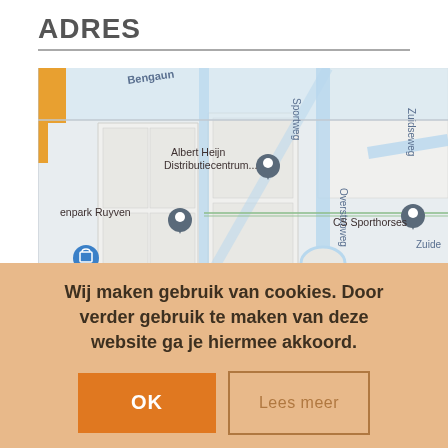ADRES
[Figure (map): Google Maps screenshot showing area near Albert Heijn Distributiecentrum, enpark Ruyven, CS Sporthorses, H.L.P. van Bregt, with street labels Bengaun, Sportweg, Overstapweg, Zuidseweg]
Wij maken gebruik van cookies. Door verder gebruik te maken van deze website ga je hiermee akkoord.
OK
Lees meer